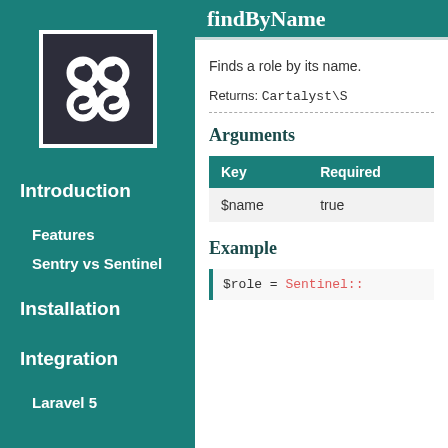[Figure (logo): Sentinel/Sentry logo — white stylized S3 figure on dark background, inside a white-bordered box, on teal sidebar]
Introduction
Features
Sentry vs Sentinel
Installation
Integration
Laravel 5
findByName
Finds a role by its name.
Returns: Cartalyst\S
Arguments
| Key | Required |
| --- | --- |
| $name | true |
Example
$role = Sentinel::